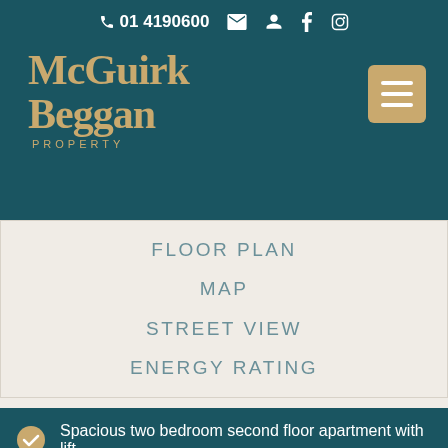01 4190600
[Figure (logo): McGuirk Beggan Property logo with teal background and gold serif text]
FLOOR PLAN
MAP
STREET VIEW
ENERGY RATING
Spacious two bedroom second floor apartment with lift
Electric storage heating & electric fireplace